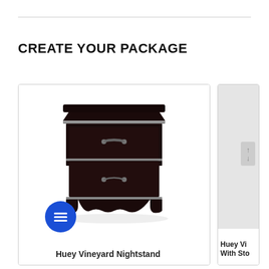CREATE YOUR PACKAGE
[Figure (photo): Dark espresso-colored Huey Vineyard nightstand with two drawers and silver hardware handles, displayed on white background]
Huey Vineyard Nightstand
[Figure (photo): Partially visible second product card showing Huey Vineyard item with storage, partially cropped at right edge]
Huey Vi With Sto